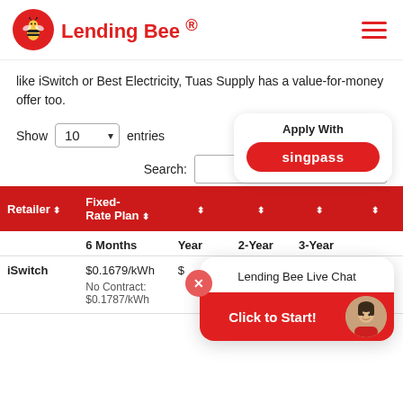[Figure (logo): Lending Bee logo with red bee icon and red text]
like iSwitch or Best Electricity, Tuas Supply has a value-for-money offer too.
Show 10 entries
[Figure (screenshot): Apply With Singpass button card]
Search:
| Retailer | Fixed-Rate Plan |  |  |  |  |
| --- | --- | --- | --- | --- | --- |
|  | 6 Months | Year | 2-Year | 3-Year |
| iSwitch | $0.1679/kWh | $ |  |  | No Contract: $0.1787/kWh |
[Figure (screenshot): Lending Bee Live Chat popup with Click to Start button and avatar]